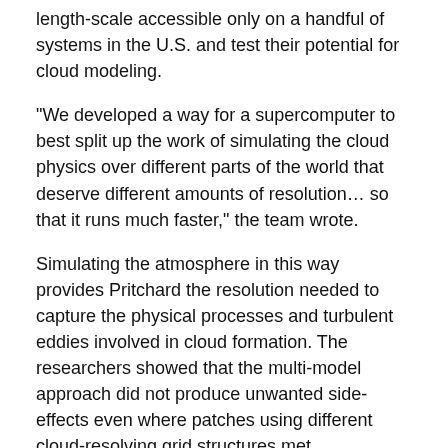length-scale accessible only on a handful of systems in the U.S. and test their potential for cloud modeling.
"We developed a way for a supercomputer to best split up the work of simulating the cloud physics over different parts of the world that deserve different amounts of resolution… so that it runs much faster," the team wrote.
Simulating the atmosphere in this way provides Pritchard the resolution needed to capture the physical processes and turbulent eddies involved in cloud formation. The researchers showed that the multi-model approach did not produce unwanted side-effects even where patches using different cloud-resolving grid structures met.
"We were happy so see that the differences were small," he said. "This will provide new flexibility to all users of climate models who want to focus high resolution in different places."
Disentangling and reconnecting the various scales of the CESM model was one challenge that Pritchard's team overcame. Another involved re-programming the model so it can take advantage of the ever-increasing number of processors available on modern